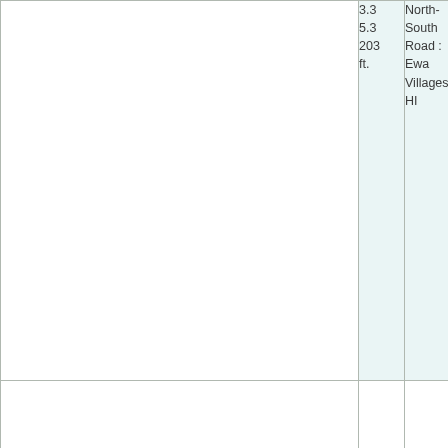|  | 3.3
5.3
203 ft. | North-South Road : Ewa Villages, HI |
|  |  |  |